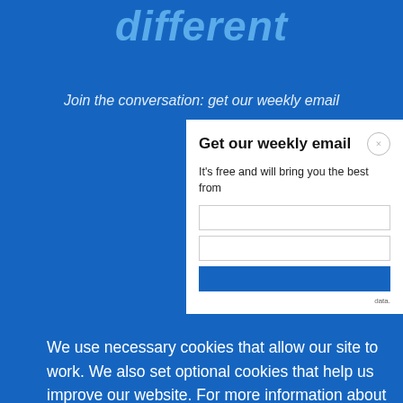different
Join the conversation: get our weekly email
Get our weekly email
It's free and will bring you the best from
We use necessary cookies that allow our site to work. We also set optional cookies that help us improve our website. For more information about the types of cookies we use. READ OUR COOKIES POLICY HERE
COOKIE SETTINGS
ALLOW ALL COOKIES
data.